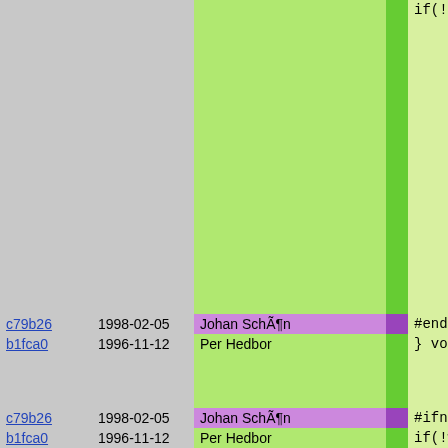| hash | date | author |  | code |
| --- | --- | --- | --- | --- |
|  |  |  |  | if(!chro
{
    perror
#if efun(r
    real_p
#endif
    return
}
perror(" |
| c79b26 | 1998-02-05 | Johan SchÃ¶n |  | #endif |
| b1fca0 | 1996-11-12 | Per Hedbor |  | }

void creat
{ |
| c79b26 | 1998-02-05 | Johan SchÃ¶n |  | #ifndef __ |
| b1fca0 | 1996-11-12 | Per Hedbor |  | if(!wher
where =


rm(where |
| 5e8921 | 1997-02-13 | Per Hedbor |  | if(catch |
| b1fca0 | 1996-11-12 | Per Hedbor |  |     perror |
| c79b26 | 1998-02-05 | Johan SchÃ¶n |  | #endif |
| b1fca0 | 1996-11-12 | Per Hedbor |  | } |